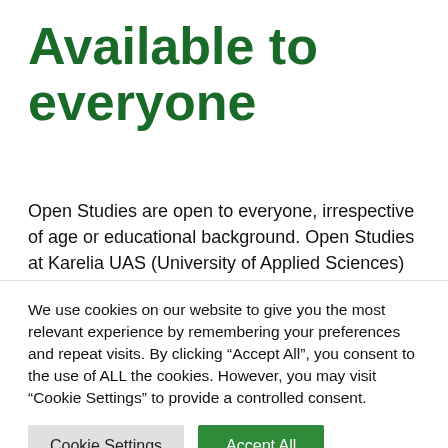Available to everyone
Open Studies are open to everyone, irrespective of age or educational background. Open Studies at Karelia UAS (University of Applied Sciences) offer you an opportunity to study courses that are part of Karelia UAS degrees
We use cookies on our website to give you the most relevant experience by remembering your preferences and repeat visits. By clicking “Accept All”, you consent to the use of ALL the cookies. However, you may visit “Cookie Settings” to provide a controlled consent.